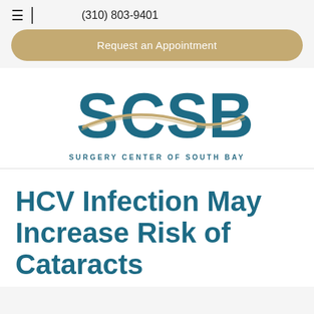(310) 803-9401
Request an Appointment
[Figure (logo): SCSB Surgery Center of South Bay logo with teal letters and gold swoosh]
HCV Infection May Increase Risk of Cataracts